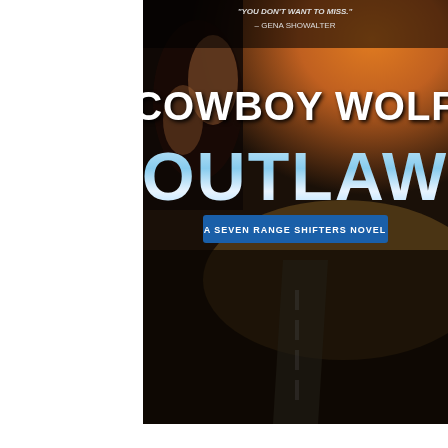[Figure (illustration): Book cover for 'Cowboy Wolf Outlaw: A Seven Range Shifters Novel'. Dark background with dramatic sunset/road scene. Top has a quote 'You don't want to miss.' - Gena Showalter. Large white text reads 'COWBOY WOLF' and large light blue/cyan text reads 'OUTLAW'. A blue banner at the bottom reads 'A SEVEN RANGE SHIFTERS NOVEL'.]